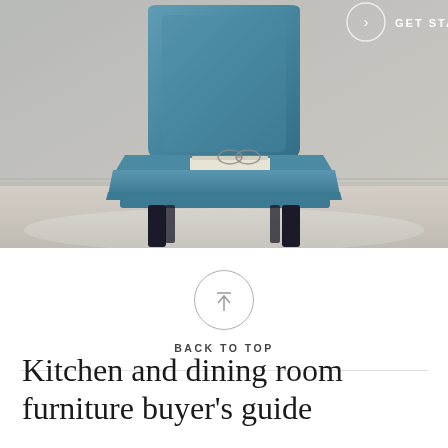[Figure (photo): A teal/blue velvet dining chair with dark wooden legs on a light gray rug against a neutral wall background. A book and glasses rest on the seat.]
GET STARTED
BACK TO TOP
Kitchen and dining room furniture buyer’s guide